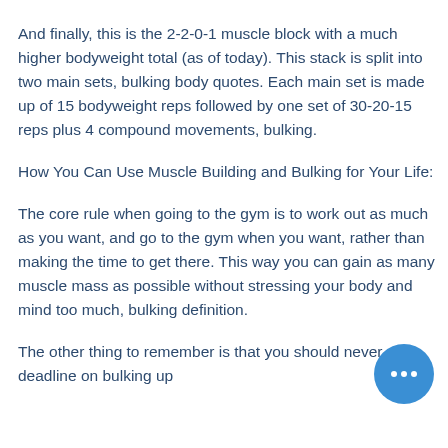And finally, this is the 2-2-0-1 muscle block with a much higher bodyweight total (as of today). This stack is split into two main sets, bulking body quotes. Each main set is made up of 15 bodyweight reps followed by one set of 30-20-15 reps plus 4 compound movements, bulking.
How You Can Use Muscle Building and Bulking for Your Life:
The core rule when going to the gym is to work out as much as you want, and go to the gym when you want, rather than making the time to get there. This way you can gain as many muscle mass as possible without stressing your body and mind too much, bulking definition.
The other thing to remember is that you should never put a deadline on bulking up